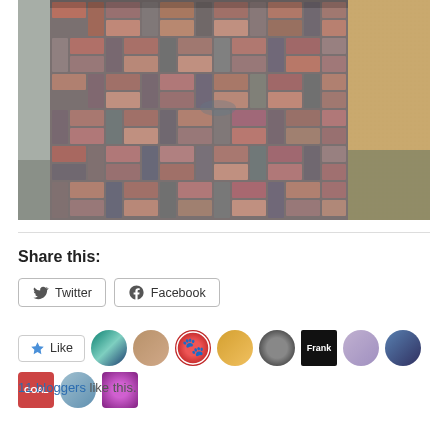[Figure (photo): Overhead view of a herringbone-patterned brick/paver walkway under construction, with sandy soil visible on the right side and a concrete border on the left. Bricks are reddish-brown, gray, and mixed tones.]
Share this:
[Figure (screenshot): Twitter and Facebook share buttons with icons]
[Figure (screenshot): Like button with star icon and 11 blogger avatar thumbnails]
11 bloggers like this.